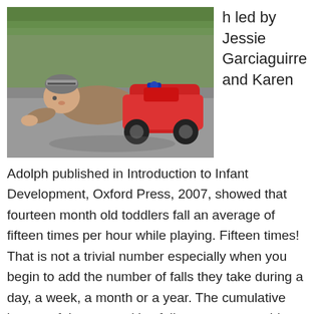[Figure (photo): A toddler in a striped hat crawling or falling on pavement next to a red toy vehicle]
h led by Jessie Garciaguirre and Karen Adolph published in Introduction to Infant Development, Oxford Press, 2007, showed that fourteen month old toddlers fall an average of fifteen times per hour while playing. Fifteen times! That is not a trivial number especially when you begin to add the number of falls they take during a day, a week, a month or a year. The cumulative impact of these repetitive falls can cause problems in the spine and nervous system that contribute to many unexplainable health problems.